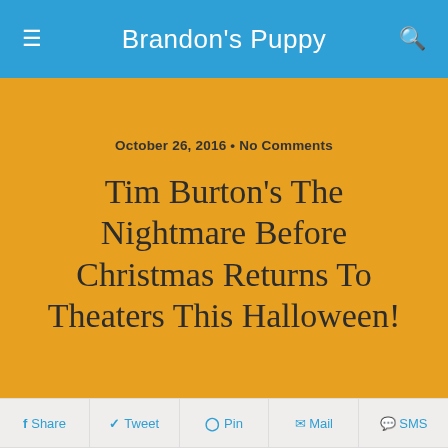Brandon's Puppy
October 26, 2016 • No Comments
Tim Burton's The Nightmare Before Christmas Returns To Theaters This Halloween!
Share  Tweet  Pin  Mail  SMS
[Figure (photo): Movie poster for Tim Burton's The Nightmare Before Christmas showing Jack Skellington character on red background with Disney logo and title text]